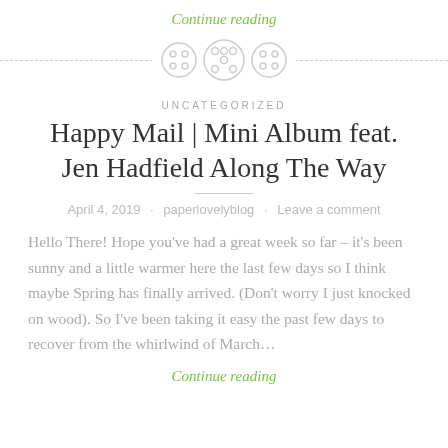Continue reading
[Figure (illustration): Three decorative button icons arranged in a row with a dashed horizontal rule through them]
UNCATEGORIZED
Happy Mail | Mini Album feat. Jen Hadfield Along The Way
April 4, 2019 · paperlovelyblog · Leave a comment
Hello There! Hope you've had a great week so far – it's been sunny and a little warmer here the last few days so I think maybe Spring has finally arrived. (Don't worry I just knocked on wood). So I've been taking it easy the past few days to recover from the whirlwind of March…
Continue reading